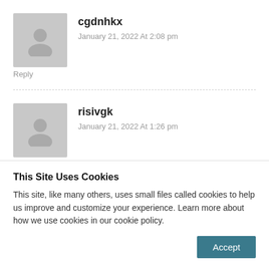cgdnhkx
January 21, 2022 At 2:08 pm
Reply
risivgk
January 21, 2022 At 1:26 pm
Reply
This Site Uses Cookies
This site, like many others, uses small files called cookies to help us improve and customize your experience. Learn more about how we use cookies in our cookie policy.